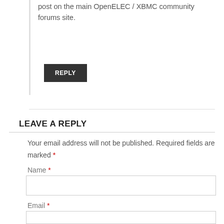post on the main OpenELEC / XBMC community forums site.
REPLY
LEAVE A REPLY
Your email address will not be published. Required fields are marked *
Name *
Email *